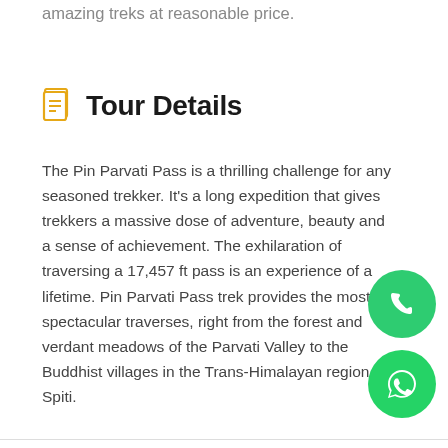Welcome to Himalaya Discovery Tours, We offer amazing treks at reasonable price.
Tour Details
The Pin Parvati Pass is a thrilling challenge for any seasoned trekker. It's a long expedition that gives trekkers a massive dose of adventure, beauty and a sense of achievement. The exhilaration of traversing a 17,457 ft pass is an experience of a lifetime. Pin Parvati Pass trek provides the most spectacular traverses, right from the forest and verdant meadows of the Parvati Valley to the Buddhist villages in the Trans-Himalayan region of Spiti.
[Figure (other): Phone call button (green circle with phone icon)]
[Figure (other): WhatsApp button (green circle with WhatsApp icon)]